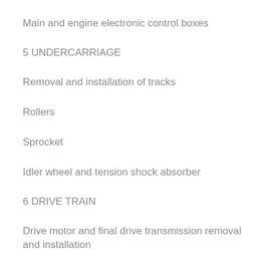Main and engine electronic control boxes
5 UNDERCARRIAGE
Removal and installation of tracks
Rollers
Sprocket
Idler wheel and tension shock absorber
6 DRIVE TRAIN
Drive motor and final drive transmission removal and installation